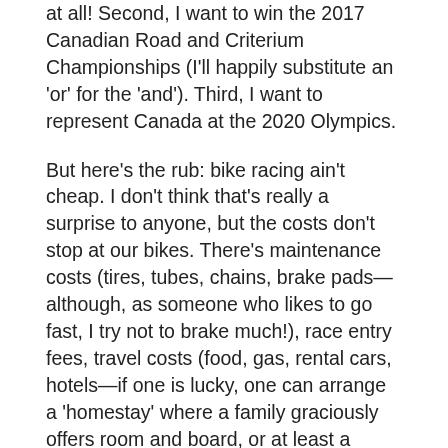at all!  Second, I want to win the 2017 Canadian Road and Criterium Championships (I'll happily substitute an 'or' for the 'and'). Third, I want to represent Canada at the 2020 Olympics.
But here's the rub: bike racing ain't cheap. I don't think that's really a surprise to anyone, but the costs don't stop at our bikes. There's maintenance costs (tires, tubes, chains, brake pads—although, as someone who likes to go fast, I try not to brake much!), race entry fees, travel costs (food, gas, rental cars, hotels—if one is lucky, one can arrange a 'homestay' where a family graciously offers room and board, or at least a couch to surf), clothing, and replacement costs for broken equipment when (not if, when) we crash. And that's just for racing: there are also training costs, such as monthly coaching fees, training camps, and so on. These costs add up, and that's after the